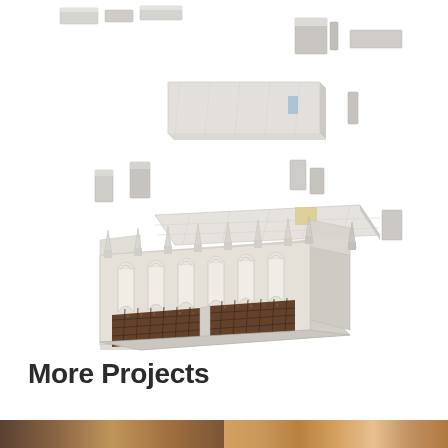[Figure (engineering-diagram): Exploded 3D architectural/engineering diagram of a Gothic-style building (chapel or church) showing separated components: roof panels, wall sections with Gothic arched windows and pinnacles, floor tiles with brown mosaic pattern, and structural element pieces floating above the assembled structure — all rendered in light grey/white 3D model style on white background.]
More Projects
[Figure (photo): Bottom strip showing two partial photograph thumbnails side by side — left appears dark/shadowy, right appears warm-toned/orange-brown, likely project preview images.]